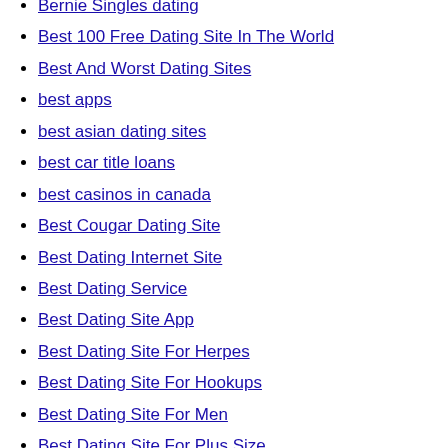Bernie Singles dating
Best 100 Free Dating Site In The World
Best And Worst Dating Sites
best apps
best asian dating sites
best car title loans
best casinos in canada
Best Cougar Dating Site
Best Dating Internet Site
Best Dating Service
Best Dating Site App
Best Dating Site For Herpes
Best Dating Site For Hookups
Best Dating Site For Men
Best Dating Site For Plus Size
Best Dating Site For Serious Relationships
Best Dating Site For Teens
Best Dating Site For Women
Best Dating Site In The Usa
Best Dating Site In Usa
Best Dating Site In Usa For Free
Best Dating Site Profiles
Best Dating Site Questions
best dating site...